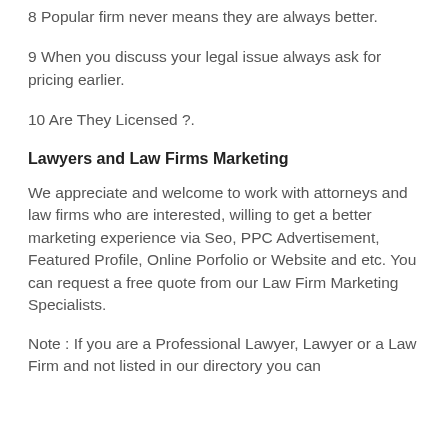8 Popular firm never means they are always better.
9 When you discuss your legal issue always ask for pricing earlier.
10 Are They Licensed ?.
Lawyers and Law Firms Marketing
We appreciate and welcome to work with attorneys and law firms who are interested, willing to get a better marketing experience via Seo, PPC Advertisement, Featured Profile, Online Porfolio or Website and etc. You can request a free quote from our Law Firm Marketing Specialists.
Note : If you are a Professional Lawyer, Lawyer or a Law Firm and not listed in our directory you can